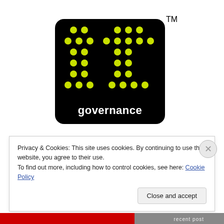[Figure (logo): IT Governance logo — black rounded square with yellow-green dot matrix forming 'it' letters and 'governance' text in white below, with TM superscript mark]
Privacy & Cookies: This site uses cookies. By continuing to use this website, you agree to their use.
To find out more, including how to control cookies, see here: Cookie Policy
Close and accept